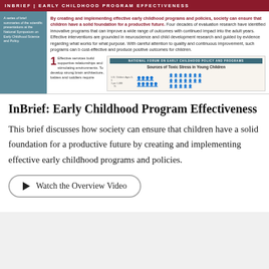INBRIEF | EARLY CHILDHOOD PROGRAM EFFECTIVENESS
A series of brief summaries of the scientific presentations at the National Symposium on Early Childhood Science and Policy.
By creating and implementing effective early childhood programs and policies, society can ensure that children have a solid foundation for a productive future. Four decades of evaluation research have identified innovative programs that can improve a wide range of outcomes with continued impact into the adult years. Effective interventions are grounded in neuroscience and child development research and guided by evidence regarding what works for what purpose. With careful attention to quality and continuous improvement, such programs can be cost-effective and produce positive outcomes for children.
1 Effective services build supportive relationships and stimulating environments. To develop strong brain architecture, babies and toddlers require
[Figure (infographic): Sources of Toxic Stress in Young Children infographic showing icon-based data from the National Forum on Early Childhood Policy and Programs]
InBrief: Early Childhood Program Effectiveness
This brief discusses how society can ensure that children have a solid foundation for a productive future by creating and implementing effective early childhood programs and policies.
Watch the Overview Video